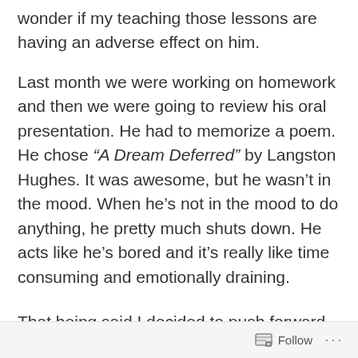wonder if my teaching those lessons are having an adverse effect on him.
Last month we were working on homework and then we were going to review his oral presentation. He had to memorize a poem. He chose “A Dream Deferred” by Langston Hughes. It was awesome, but he wasn’t in the mood. When he’s not in the mood to do anything, he pretty much shuts down. He acts like he’s bored and it’s really like time consuming and emotionally draining.
That being said I decided to push forward and
Follow ...